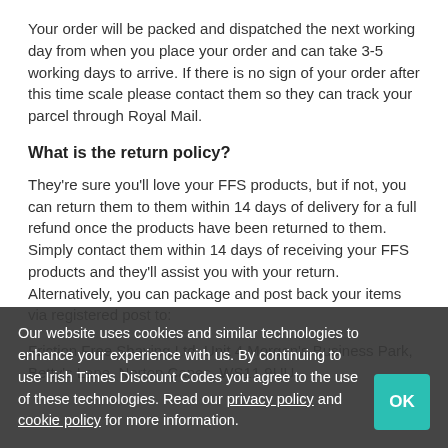Your order will be packed and dispatched the next working day from when you place your order and can take 3-5 working days to arrive. If there is no sign of your order after this time scale please contact them so they can track your parcel through Royal Mail.
What is the return policy?
They're sure you'll love your FFS products, but if not, you can return them to them within 14 days of delivery for a full refund once the products have been returned to them. Simply contact them within 14 days of receiving your FFS products and they'll assist you with your return. Alternatively, you can package and post back your items via registered post to:
Friction Free Shaving Ltd, Unit 4 Morgan's Business Park, Betty's Lane, Norton Canes, WS11 9UU,
Our website uses cookies and similar technologies to enhance your experience with us. By continuing to use Irish Times Discount Codes you agree to the use of these technologies. Read our privacy policy and cookie policy for more information.